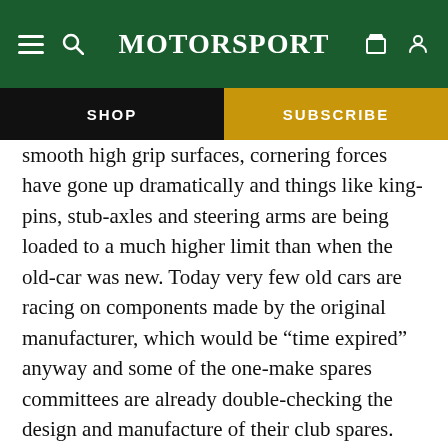MotorSport
SHOP
SUBSCRIBE
smooth high grip surfaces, cornering forces have gone up dramatically and things like king-pins, stub-axles and steering arms are being loaded to a much higher limit than when the old-car was new. Today very few old cars are racing on components made by the original manufacturer, which would be “time expired” anyway and some of the one-make spares committees are already double-checking the design and manufacture of their club spares. They may be made to original works drawings, but what of the material specification and the heat treatment, and even if you can give the machine shop the correct figures is there any